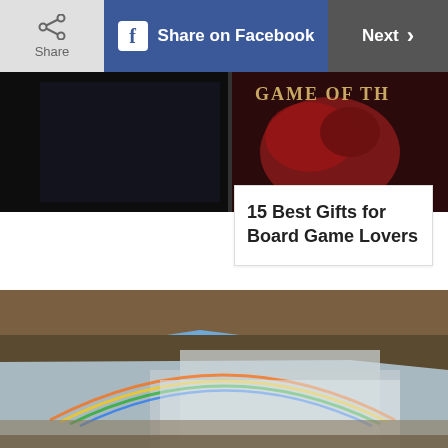[Figure (screenshot): Top navigation bar with Share button, Share on Facebook button, and Next button]
[Figure (photo): Game of Thrones board game box top portion, dark background with red dragon sigil]
15 Best Gifts for Board Game Lovers
[Figure (photo): Waterfall scene with rainbow arc over cascading water and rocky canyon cliffs under blue sky]